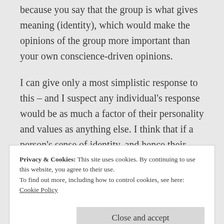because you say that the group is what gives meaning (identity), which would make the opinions of the group more important than your own conscience-driven opinions.
I can give only a most simplistic response to this – and I suspect any individual's response would be as much a factor of their personality and values as anything else. I think that if a person's sense of identity, and hence their ability to decide what they value (in other
Privacy & Cookies: This site uses cookies. By continuing to use this website, you agree to their use.
To find out more, including how to control cookies, see here:
Cookie Policy
Close and accept
isolation. But I contend that an adult's first